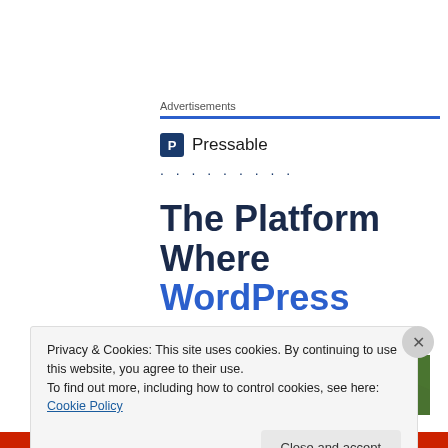Advertisements
[Figure (logo): Pressable logo with blue shield icon and company name]
. . . . . . . . .
The Platform Where WordPress
[Figure (photo): Forest path with green trees canopy]
Privacy & Cookies: This site uses cookies. By continuing to use this website, you agree to their use.
To find out more, including how to control cookies, see here: Cookie Policy
Close and accept